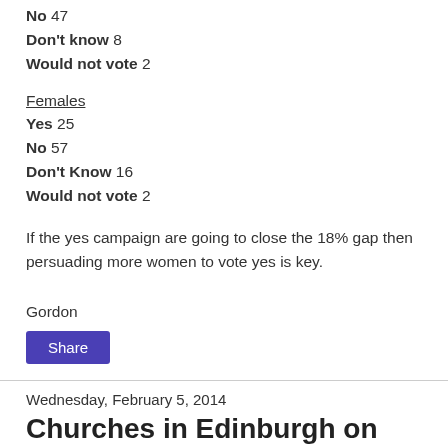No 47
Don't know 8
Would not vote 2
Females
Yes 25
No 57
Don't Know 16
Would not vote 2
If the yes campaign are going to close the 18% gap then persuading more women to vote yes is key.
Gordon
Share
Wednesday, February 5, 2014
Churches in Edinburgh on the Internet